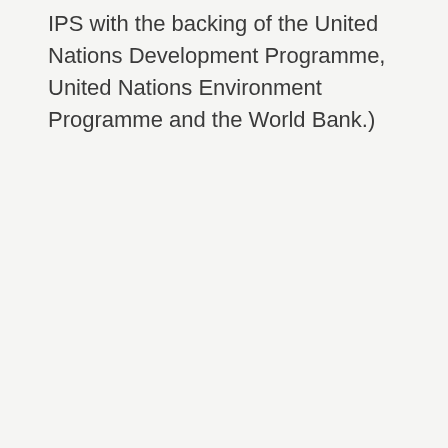IPS with the backing of the United Nations Development Programme, United Nations Environment Programme and the World Bank.)